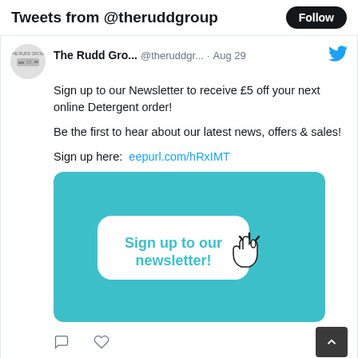Tweets from @theruddgroup
Sign up to our Newsletter to receive £5 off your next online Detergent order!

Be the first to hear about our latest news, offers & sales!

Sign up here: eepurl.com/hRxIMT
[Figure (infographic): Teal/cyan promotional banner with a white rounded rectangle button containing the text 'Sign up to our newsletter!' in teal bold font, with a hand cursor icon pointing at it]
Head Office